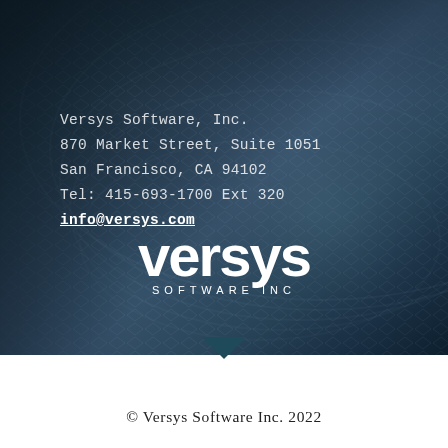[Figure (illustration): Dark architectural mesh/grid background photo covering the upper three-quarters of the page, showing a waved metallic lattice structure in dark blue-grey tones.]
Versys Software, Inc.
870 Market Street, Suite 1051
San Francisco, CA 94102
Tel: 415-693-1700 Ext 320
info@versys.com
[Figure (logo): Versys Software Inc white logo centered in the lower portion of the dark background area. Large stylized 'versys' wordmark with 'SOFTWARE INC' beneath in spaced capitals.]
© Versys Software Inc. 2022